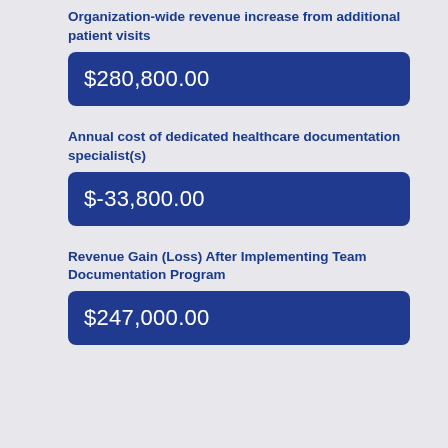Organization-wide revenue increase from additional patient visits
$280,800.00
Annual cost of dedicated healthcare documentation specialist(s)
$-33,800.00
Revenue Gain (Loss) After Implementing Team Documentation Program
$247,000.00